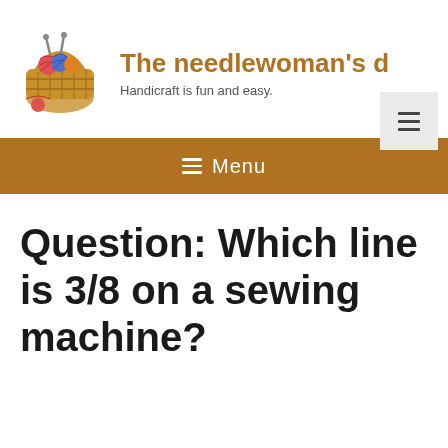[Figure (logo): Wicker basket filled with colorful yarn balls and knitting needles, serving as website logo]
The needlewoman's d
Handicraft is fun and easy.
[Figure (screenshot): Hamburger menu button (three horizontal lines) on light grey background]
≡ Menu
Question: Which line is 3/8 on a sewing machine?